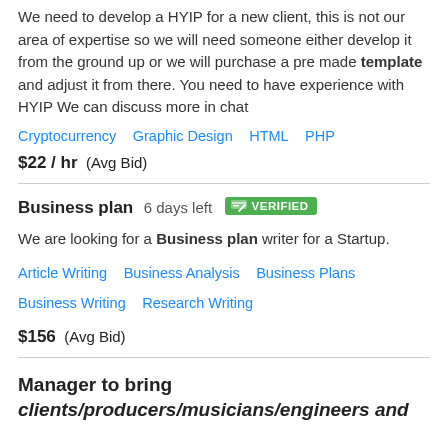We need to develop a HYIP for a new client, this is not our area of expertise so we will need someone either develop it from the ground up or we will purchase a pre made template and adjust it from there. You need to have experience with HYIP We can discuss more in chat
Cryptocurrency   Graphic Design   HTML   PHP
$22 / hr   (Avg Bid)
Business plan   6 days left   VERIFIED
We are looking for a Business plan writer for a Startup.
Article Writing   Business Analysis   Business Plans   Business Writing   Research Writing
$156   (Avg Bid)
Manager to bring clients/producers/musicians/engineers and